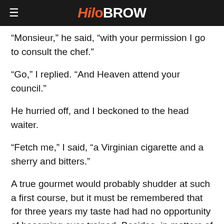HiloBROW
“Monsieur,” he said, “with your permission I go to consult the chef.”
“Go,” I replied. “And Heaven attend your council.”
He hurried off, and I beckoned to the head waiter.
“Fetch me,” I said, “a Virginian cigarette and a sherry and bitters.”
A true gourmet would probably shudder at such a first course, but it must be remembered that for three years my taste had had no opportunity of becoming over-trained. Besides, in matters of this sort I always act on the principle that it’s better to enjoy oneself than to be artistically correct.
Lying back in my chair I looked out over the little restaurant with a sensation of beautiful complacency. The soft rose-shaded lamps threw a